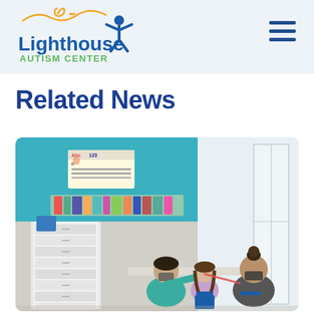Lighthouse Autism Center
Related News
[Figure (photo): Two adults wearing masks and a child sitting at a blue table in a colorful classroom. There are educational posters and alphabet/number charts on a teal wall, white drawer storage units on the left, and a large bright window on the right. The adults appear to be therapists engaging the child in an activity.]